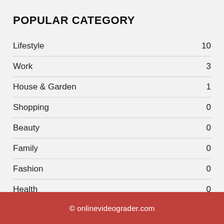POPULAR CATEGORY
Lifestyle  10
Work  3
House & Garden  1
Shopping  0
Beauty  0
Family  0
Fashion  0
Health  0
Tech  0
© onlinevideograder.com